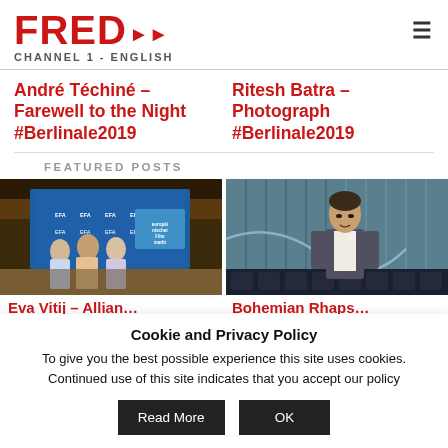FRED CHANNEL 1 - ENGLISH
André Téchiné – Farewell to the Night #Berlinale2019
Ritesh Batra – Photograph #Berlinale2019
FEATURED POSTS
[Figure (photo): Event photo with people in front of a blue backdrop with European Film Academy branding]
[Figure (photo): Man standing in a theater or auditorium with seats visible in the background]
Cookie and Privacy Policy
To give you the best possible experience this site uses cookies. Continued use of this site indicates that you accept our policy
Read More   OK